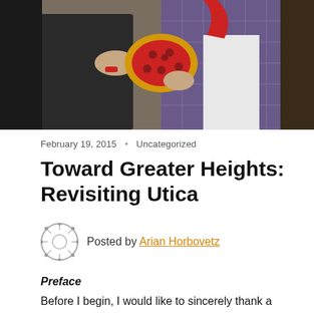[Figure (photo): Two people holding a pepperoni pizza-shaped cushion/toy indoors, one wearing a dark sweater and the other a plaid shirt with a red scarf.]
February 19, 2015  •  Uncategorized
Toward Greater Heights: Revisiting Utica
Posted by Arian Horbovetz
Preface
Before I begin, I would like to sincerely thank a number of individuals and organizations for making my second